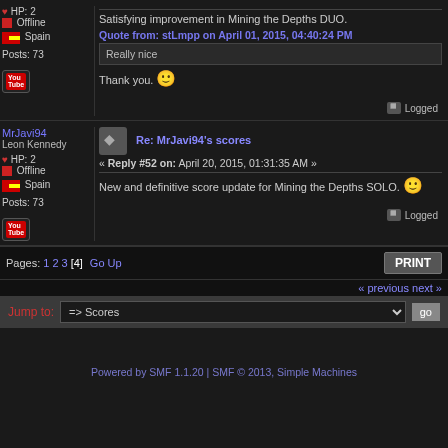Satisfying improvement in Mining the Depths DUO.
Quote from: stLmpp on April 01, 2015, 04:40:24 PM
Really nice
Thank you. :)
Logged
MrJavi94 Leon Kennedy
Re: MrJavi94's scores
« Reply #52 on: April 20, 2015, 01:31:35 AM »
♥ HP: 2 Offline Spain Posts: 73
New and definitive score update for Mining the Depths SOLO.
Logged
Pages: 1 2 3 [4] Go Up
« previous next »
Jump to: => Scores
Powered by SMF 1.1.20 | SMF © 2013, Simple Machines